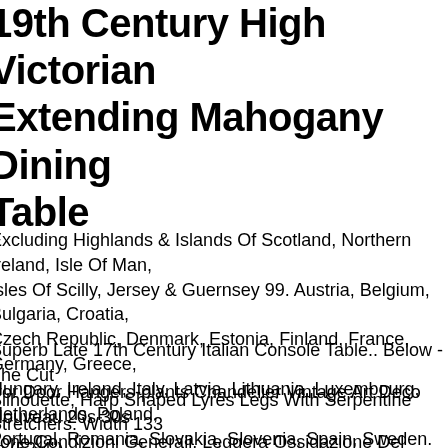19th Century High Victorian Extending Mahogany Dining Table
Excluding Highlands & Islands Of Scotland, Northern Ireland, Isle Of Man, Isles Of Scilly, Jersey & Guernsey 99. Austria, Belgium, Bulgaria, Croatia, Czech Republic, Denmark, Estonia, Finland, France, Germany, Greece, Hungary, Ireland, Italy, Latvia, Lithuania, Luxembourg, Netherlands, Poland, Portugal, Romania, Slovakia, Slovenia, Spain, Sweden.
Superb Late 17th Century Italian Console Table.. Below - The Cut Silhouette, Harp Shaped Lyres Legs With Serpentine Stretchers. Width 133 m (52.4").
rror Door Hangers-plants Chandelier Vintage Art Deco Nouveau 20s 30s none Condizioni Generali, Leggera Ossidazione Del Metallo. Stile Art Nouveau, Lo Specchio Firmato 1965 Sul Retro. Un Difetto Sul Bordo Del hiaccio. Altezza 73,5 Cm. Lunghezza 113 Cm. Profondit 12,5 Cm. Il hiaccio Misura 54,5 X 31,5 Cm. Un Pezzo Assolutamente Sbalorditivo! Gli ifferenti Internazionali Sono Benvenuti! Non Esitare A Contattarci Per ualsiasi Domanda Tu Possa Avere. Grazie.